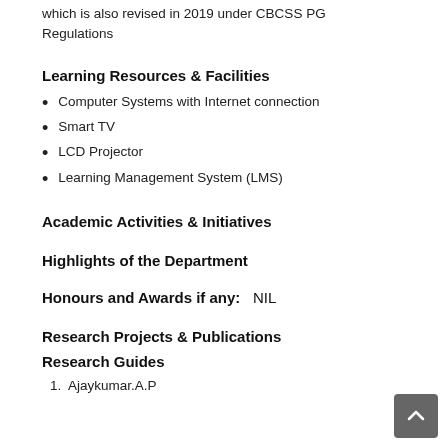which is also revised in 2019 under CBCSS PG Regulations
Learning Resources & Facilities
Computer Systems with Internet connection
Smart TV
LCD Projector
Learning Management System (LMS)
Academic Activities & Initiatives
Highlights of the Department
Honours and Awards if any:   NIL
Research Projects & Publications
Research Guides
Ajaykumar.A.P